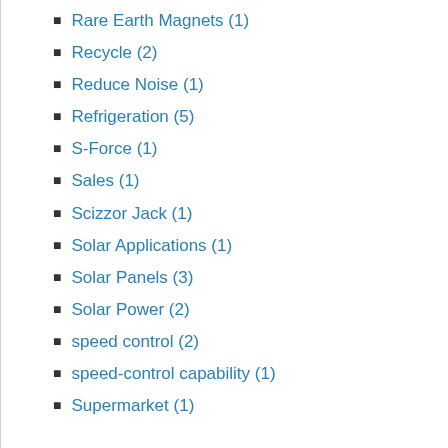Rare Earth Magnets (1)
Recycle (2)
Reduce Noise (1)
Refrigeration (5)
S-Force (1)
Sales (1)
Scizzor Jack (1)
Solar Applications (1)
Solar Panels (3)
Solar Power (2)
speed control (2)
speed-control capability (1)
Supermarket (1)